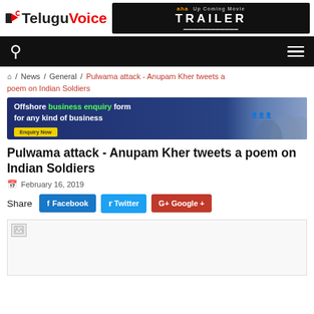TeluguVoice
[Figure (screenshot): aha TRAILER ad banner]
[Figure (screenshot): Navigation bar with search and menu icons on black background]
/ News / General / Pulwama attack - Anupam Kher tweets a poem on Indian Soldiers
[Figure (screenshot): Offshore business enquiry form for any kind of business - Enquiry Now button]
Pulwama attack - Anupam Kher tweets a poem on Indian Soldiers
February 16, 2019
Share  Facebook  Twitter  Google +
[Figure (photo): Article image (broken/not loaded)]